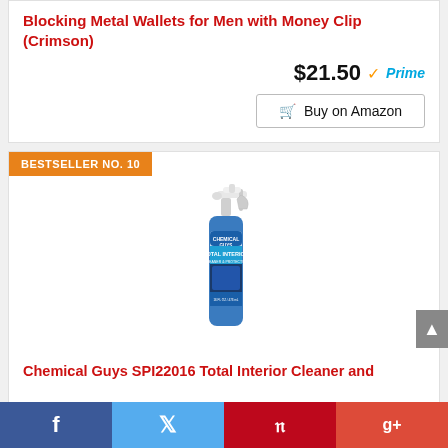Blocking Metal Wallets for Men with Money Clip (Crimson)
$21.50 Prime
Buy on Amazon
BESTSELLER NO. 10
[Figure (photo): Chemical Guys SPI22016 Total Interior Cleaner and Protector spray bottle]
Chemical Guys SPI22016 Total Interior Cleaner and